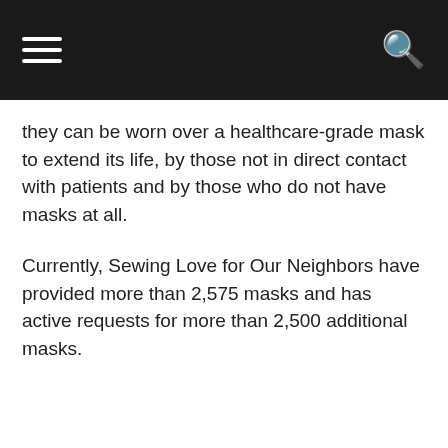Navigation header bar with hamburger menu and search icon
they can be worn over a healthcare-grade mask to extend its life, by those not in direct contact with patients and by those who do not have masks at all.
Currently, Sewing Love for Our Neighbors have provided more than 2,575 masks and has active requests for more than 2,500 additional masks.